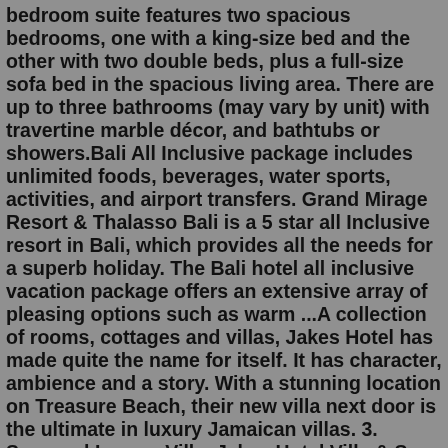bedroom suite features two spacious bedrooms, one with a king-size bed and the other with two double beds, plus a full-size sofa bed in the spacious living area. There are up to three bathrooms (may vary by unit) with travertine marble décor, and bathtubs or showers.Bali All Inclusive package includes unlimited foods, beverages, water sports, activities, and airport transfers. Grand Mirage Resort & Thalasso Bali is a 5 star all Inclusive resort in Bali, which provides all the needs for a superb holiday. The Bali hotel all inclusive vacation package offers an extensive array of pleasing options such as warm ...A collection of rooms, cottages and villas, Jakes Hotel has made quite the name for itself. It has character, ambience and a story. With a stunning location on Treasure Beach, their new villa next door is the ultimate in luxury Jamaican villas. 3. Seaweed Luxury Villa. Jakes Hotel Villa & Spa. Bedrooms: 7PACKAGES. Spa Package & Wellnes Package 2022. Make incredible memories in Puerto Vallarta with our Family Package. This package is valid from January 5th to December 18th, 2022.